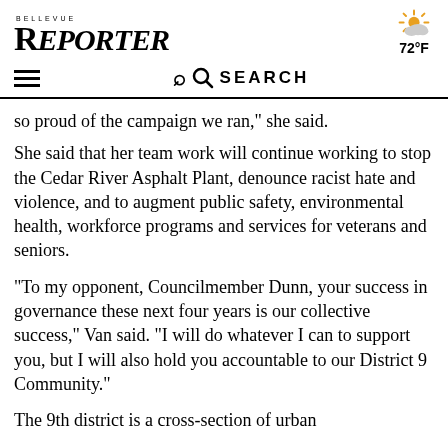BELLEVUE REPORTER
so proud of the campaign we ran," she said.
She said that her team work will continue working to stop the Cedar River Asphalt Plant, denounce racist hate and violence, and to augment public safety, environmental health, workforce programs and services for veterans and seniors.
“To my opponent, Councilmember Dunn, your success in governance these next four years is our collective success,” Van said. “I will do whatever I can to support you, but I will also hold you accountable to our District 9 Community.”
The 9th district is a cross-section of urban